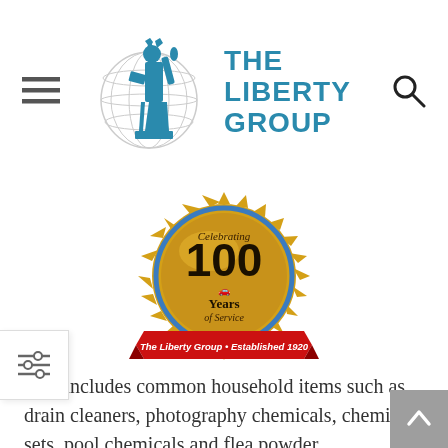[Figure (logo): The Liberty Group logo: globe with Statue of Liberty silhouette in blue, with text 'THE LIBERTY GROUP' in teal/blue bold sans-serif]
[Figure (illustration): Gold medallion badge reading 'Celebrating 100 Years of Service' with red ribbon banner 'The Liberty Group * Established 1920']
This includes common household items such as drain cleaners, photography chemicals, chemistry sets, pool chemicals and flea powder.
LAWN AND GARDEN CHEMICALS
This includes pesticides, fertilizer, bug bombs or weed